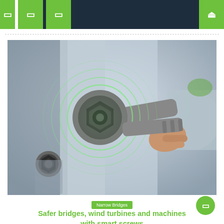Navigation header with icons and search
[Figure (photo): A person's hand holding a smart wrench/ratchet tool being applied to a bolt or screw on a metal surface. Green circular signal/wifi waves emanate from the screw head indicating wireless smart sensor capability. A second smart screw is visible in the lower left of the image.]
Narrow Bridges
Safer bridges, wind turbines and machines with smart screws